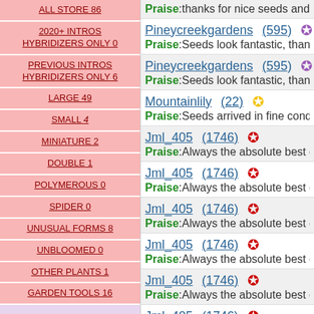ALL STORE 86
2020+ INTROS HYBRIDIZERS ONLY 0
PREVIOUS INTROS HYBRIDIZERS ONLY 6
LARGE 49
SMALL 4
MINIATURE 2
DOUBLE 1
POLYMEROUS 0
SPIDER 0
UNUSUAL FORMS 8
UNBLOOMED 0
OTHER PLANTS 1
GARDEN TOOLS 16
Other Plants
HOSTA 0
Praise:thanks for nice seeds and a...
Pineycreekgardens (595) ☆ Praise:Seeds look fantastic, thanks
Pineycreekgardens (595) ☆ Praise:Seeds look fantastic, thanks
Mountainlily (22) ★ Praise:Seeds arrived in fine condit
Jml_405 (1746) ★ Praise:Always the absolute best cr
Jml_405 (1746) ★ Praise:Always the absolute best cr
Jml_405 (1746) ★ Praise:Always the absolute best cr
Jml_405 (1746) ★ Praise:Always the absolute best cr
Jml_405 (1746) ★ Praise:Always the absolute best cr
Jml_405 (1746) ★ Praise:Always the absolute best cr
Jml_405 (1746) ★ Praise:Always the absolute best cr
Jml_405 (1746) ★ Praise:Always the absolute best cr